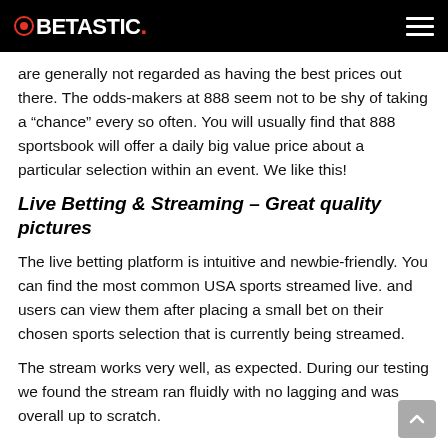BETASTIC.
are generally not regarded as having the best prices out there. The odds-makers at 888 seem not to be shy of taking a “chance” every so often. You will usually find that 888 sportsbook will offer a daily big value price about a particular selection within an event. We like this!
Live Betting & Streaming – Great quality pictures
The live betting platform is intuitive and newbie-friendly. You can find the most common USA sports streamed live. and users can view them after placing a small bet on their chosen sports selection that is currently being streamed.
The stream works very well, as expected. During our testing we found the stream ran fluidly with no lagging and was overall up to scratch.